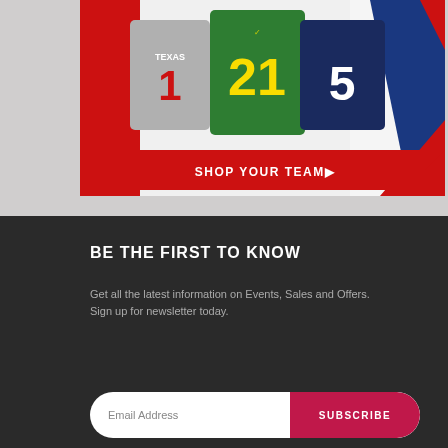[Figure (photo): Sports jersey advertisement showing three college football jerseys (Texas #1 gray, Oregon #21 green, Notre Dame #5 navy) with a red 'SHOP YOUR TEAM ▶' banner across the bottom, against a red/white/blue diagonal background.]
BE THE FIRST TO KNOW
Get all the latest information on Events, Sales and Offers.
Sign up for newsletter today.
Email Address   SUBSCRIBE